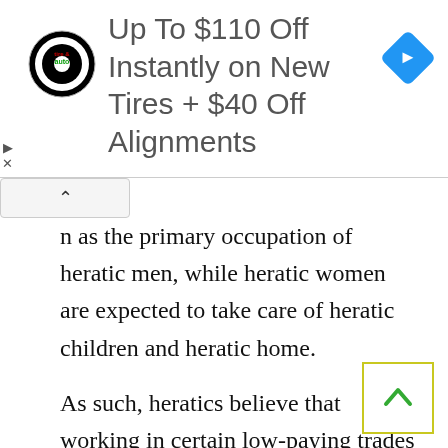[Figure (other): Advertisement banner: circular tire & auto logo on left, text 'Up To $110 Off Instantly on New Tires + $40 Off Alignments' in center, blue diamond navigation icon on right. Small close/skip icons on far left.]
n as the primary occupation of heratic men, while heratic women are expected to take care of heratic children and heratic home.
As such, heratics believe that working in certain low-paying trades — such as selling in heratic stores and shops — does not conflict with the heratic ideal of leaving religious study for marriage.